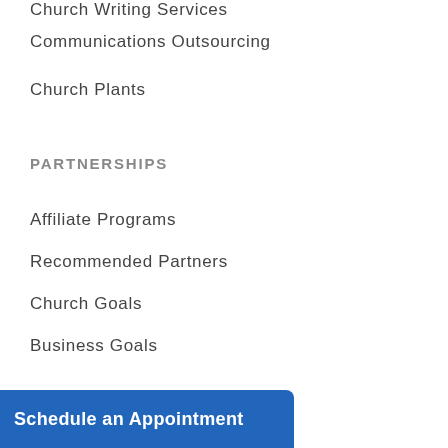Church Writing Services
Communications Outsourcing
Church Plants
PARTNERSHIPS
Affiliate Programs
Recommended Partners
Church Goals
Business Goals
OTHER
Christian Schools
Schedule an Appointment